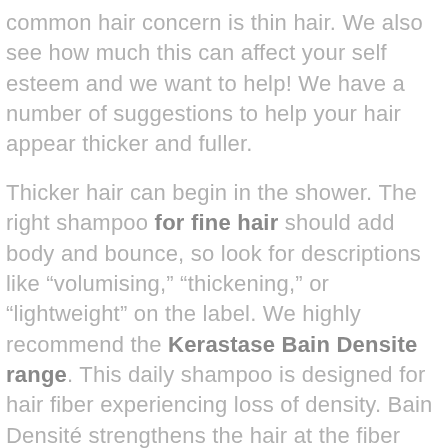common hair concern is thin hair. We also see how much this can affect your self esteem and we want to help! We have a number of suggestions to help your hair appear thicker and fuller.
Thicker hair can begin in the shower. The right shampoo for fine hair should add body and bounce, so look for descriptions like “volumising,” “thickening,” or “lightweight” on the label. We highly recommend the Kerastase Bain Densite range. This daily shampoo is designed for hair fiber experiencing loss of density. Bain Densité strengthens the hair at the fiber and awakens dormant follicles to give more texture,